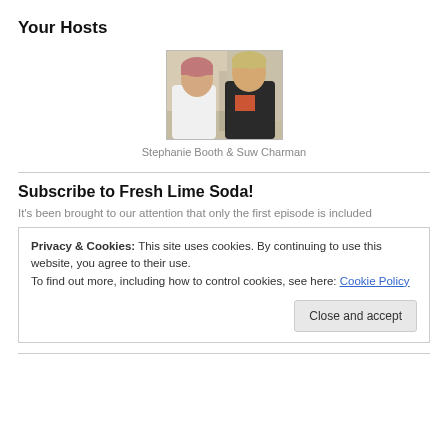Your Hosts
[Figure (photo): Photo of two women, Stephanie Booth and Suw Charman, facing each other]
Stephanie Booth & Suw Charman
Subscribe to Fresh Lime Soda!
It's been brought to our attention that only the first episode is included
Privacy & Cookies: This site uses cookies. By continuing to use this website, you agree to their use.
To find out more, including how to control cookies, see here: Cookie Policy
Close and accept